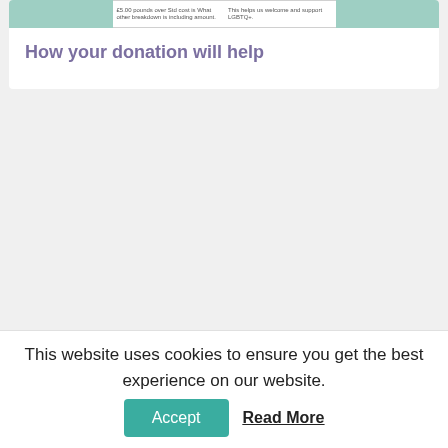[Figure (screenshot): Partial screenshot of a charity/donation webpage showing a top banner with mint/teal strip segments and white content boxes with small text]
How your donation will help
This website uses cookies to ensure you get the best experience on our website.